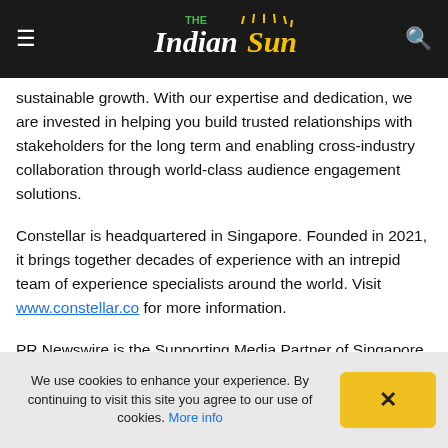The Indian Sun — navigation bar with hamburger menu and search icon
sustainable growth. With our expertise and dedication, we are invested in helping you build trusted relationships with stakeholders for the long term and enabling cross-industry collaboration through world-class audience engagement solutions.
Constellar is headquartered in Singapore. Founded in 2021, it brings together decades of experience with an intrepid team of experience specialists around the world. Visit www.constellar.co for more information.
PR Newswire is the Supporting Media Partner of Singapore
We use cookies to enhance your experience. By continuing to visit this site you agree to our use of cookies. More info